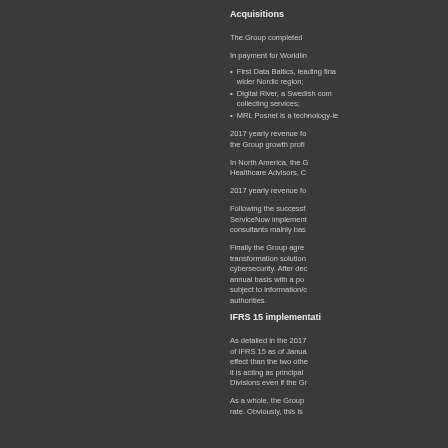Acquisitions
The Group completed
In payment for Worldlin
First Data Baltics, leading fina wider Nordic region;
Digital River, a Swedish com collecting services;
MRL Posnet is a technology-le
2017 yearly revenue fo the Group growth profi
In North America, the G Healthcare Advisors, C
2017 yearly revenue fo
Following the successf ServiceNow implement consultants mainly bas
Finally the Group agre transformation solution cybersecurity. After dec annual basis with a po subject to information/c authorities.
IFRS 15 implementati
As detailed in the 2017 of IFRS 15 as of Janua effect than the two othe it is acting as principal Divisions even if the Gr
As a whole, the Group rate. Obviously, this is